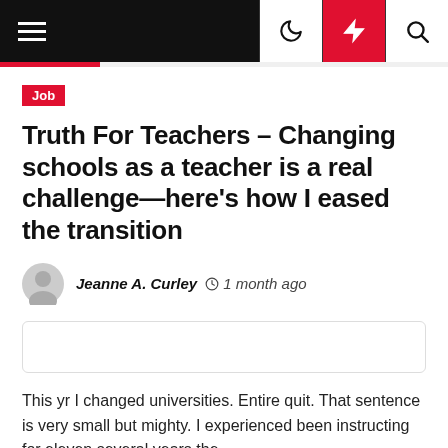Navigation bar with hamburger menu, moon/dark mode icon, lightning bolt icon, search icon
Job
Truth For Teachers – Changing schools as a teacher is a real challenge—here's how I eased the transition
Jeanne A. Curley  1 month ago
[Figure (other): Empty placeholder box with rounded border]
This yr I changed universities. Entire quit. That sentence is very small but mighty. I experienced been instructing for eleven several years the